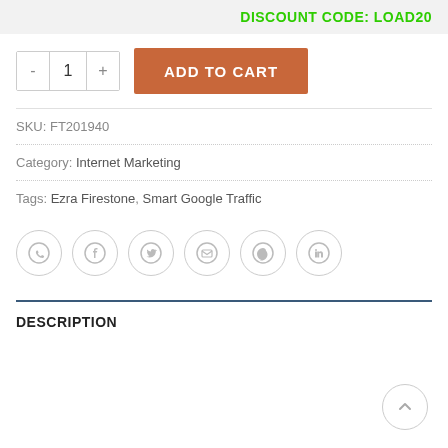DISCOUNT CODE: LOAD20
- 1 +  ADD TO CART
SKU: FT201940
Category: Internet Marketing
Tags: Ezra Firestone, Smart Google Traffic
[Figure (other): Social share icons: WhatsApp, Facebook, Twitter, Email, Pinterest, LinkedIn]
DESCRIPTION